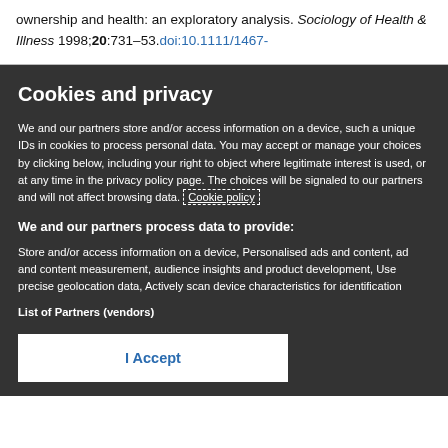ownership and health: an exploratory analysis. Sociology of Health & Illness 1998;20:731–53.doi:10.1111/1467-
Cookies and privacy
We and our partners store and/or access information on a device, such as unique IDs in cookies to process personal data. You may accept or manage your choices by clicking below, including your right to object where legitimate interest is used, or at any time in the privacy policy page. These choices will be signaled to our partners and will not affect browsing data. Cookie policy
We and our partners process data to provide:
Store and/or access information on a device, Personalised ads and content, ad and content measurement, audience insights and product development, Use precise geolocation data, Actively scan device characteristics for identification
List of Partners (vendors)
I Accept